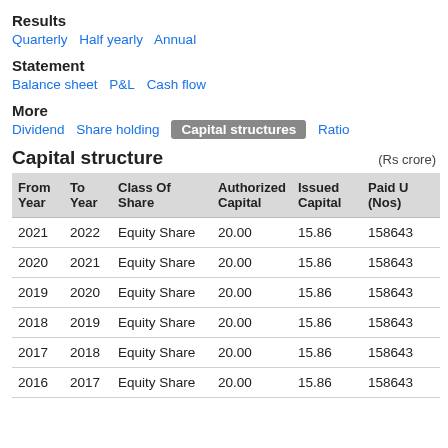Results
Quarterly  Half yearly  Annual
Statement
Balance sheet  P&L  Cash flow
More
Dividend  Share holding  Capital structures  Ratio
Capital structure
(Rs crore)
| From Year | To Year | Class Of Share | Authorized Capital | Issued Capital | Paid U (Nos) |
| --- | --- | --- | --- | --- | --- |
| 2021 | 2022 | Equity Share | 20.00 | 15.86 | 158643 |
| 2020 | 2021 | Equity Share | 20.00 | 15.86 | 158643 |
| 2019 | 2020 | Equity Share | 20.00 | 15.86 | 158643 |
| 2018 | 2019 | Equity Share | 20.00 | 15.86 | 158643 |
| 2017 | 2018 | Equity Share | 20.00 | 15.86 | 158643 |
| 2016 | 2017 | Equity Share | 20.00 | 15.86 | 158643 |